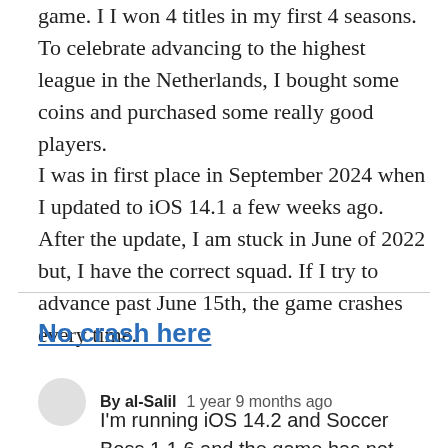game. I I won 4 titles in my first 4 seasons. To celebrate advancing to the highest league in the Netherlands, I bought some coins and purchased some really good players. I was in first place in September 2024 when I updated to iOS 14.1 a few weeks ago. After the update, I am stuck in June of 2022 but, I have the correct squad. If I try to advance past June 15th, the game crashes every time.
No crash here
By al-Salil   1 year 9 months ago
I'm running iOS 14.2 and Soccer Boss 1.1.6 and the game has not crashed yet.